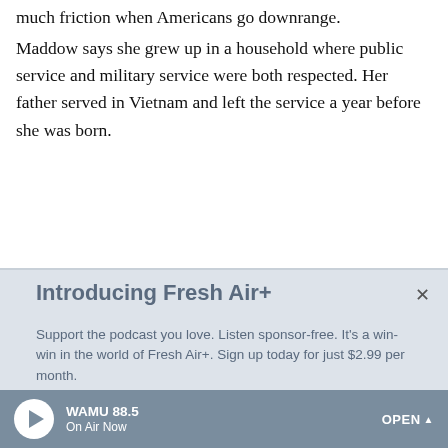much friction when Americans go downrange.
Maddow says she grew up in a household where public service and military service were both respected. Her father served in Vietnam and left the service a year before she was born.
Introducing Fresh Air+
Support the podcast you love. Listen sponsor-free. It's a win-win in the world of Fresh Air+. Sign up today for just $2.99 per month.
SUBSCRIBE
WAMU 88.5 On Air Now OPEN ^